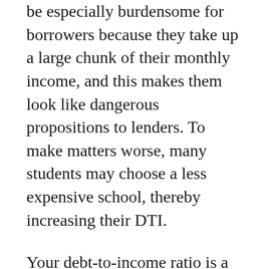be especially burdensome for borrowers because they take up a large chunk of their monthly income, and this makes them look like dangerous propositions to lenders. To make matters worse, many students may choose a less expensive school, thereby increasing their DTI.
Your debt-to-income ratio is a way to assess your creditworthiness. By keeping your debts to a reasonable level, you can borrow for college, refinance your student loans, buy a car, and get a mortgage. A good DTI is around 35%. Most mortgage lenders will want to see this figure around 43 percent. A good DTI is always better than a bad one, but there are some things you can do to make it better. You can